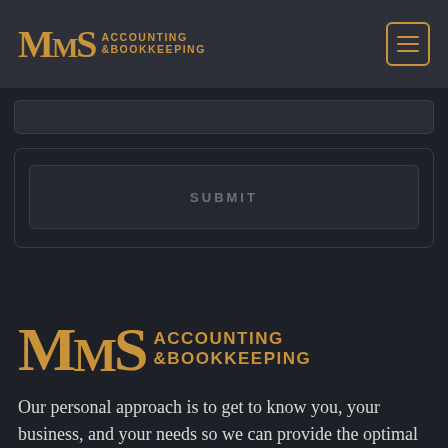[Figure (logo): MMS Accounting & Bookkeeping logo in gold/amber color on dark background, top navigation bar]
[Figure (screenshot): Dark form area with a partially visible input field at top, a bordered form box containing a SUBMIT button]
[Figure (logo): MMS Accounting & Bookkeeping large logo in gold/amber on dark background, bottom section]
Our personal approach is to get to know you, your business, and your needs so we can provide the optimal service that you expect and deserve.